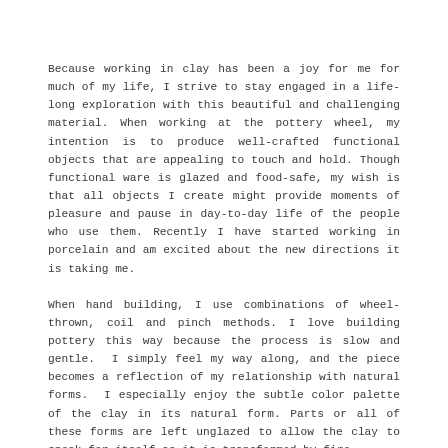Because working in clay has been a joy for me for much of my life, I strive to stay engaged in a life-long exploration with this beautiful and challenging material. When working at the pottery wheel, my intention is to produce well-crafted functional objects that are appealing to touch and hold. Though functional ware is glazed and food-safe, my wish is that all objects I create might provide moments of pleasure and pause in day-to-day life of the people who use them. Recently I have started working in porcelain and am excited about the new directions it is taking me.
When hand building, I use combinations of wheel-thrown, coil and pinch methods. I love building pottery this way because the process is slow and gentle.  I simply feel my way along, and the piece becomes a reflection of my relationship with natural forms.  I especially enjoy the subtle color palette of the clay in its natural form. Parts or all of these forms are left unglazed to allow the clay to speak for itself as it is transformed by fire.
Over the years I have experimented with a variety of